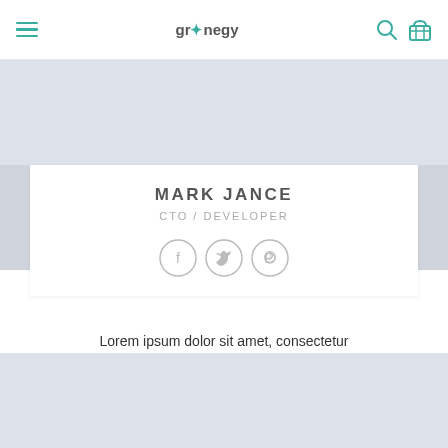grenegy — navigation bar with menu icon, logo, search, and cart
[Figure (illustration): Light gray banner area for profile background image]
MARK JANCE
CTO / DEVELOPER
[Figure (illustration): Three circular social media icons: Facebook, Twitter, Pinterest — outlined in light gray]
Lorem ipsum dolor sit amet, consectetur adipiscing elit. Proin ullamcorper
[Figure (photo): Light gray placeholder image block at the bottom of the page]